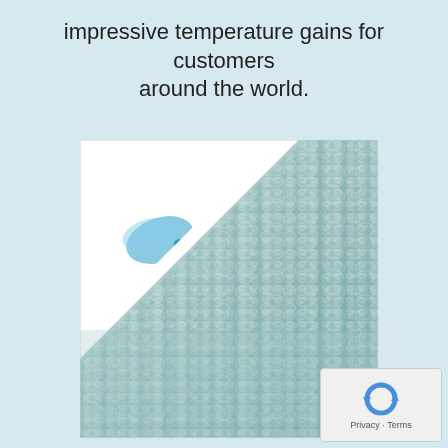impressive temperature gains for customers around the world.
[Figure (photo): Sol+Guard pool solar cover/bubble wrap blanket product photo showing textured teal/aqua bubble surface with Sol+Guard logo in white corner]
[Figure (logo): reCAPTCHA privacy badge with circular arrows icon and Privacy - Terms text]